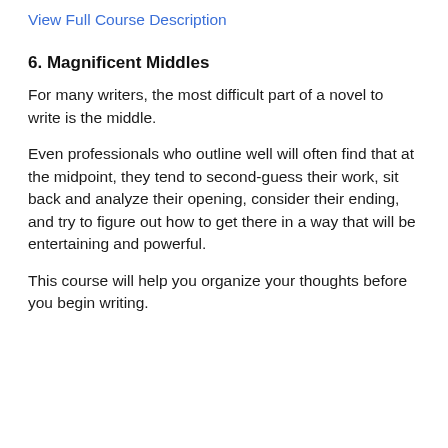View Full Course Description
6. Magnificent Middles
For many writers, the most difficult part of a novel to write is the middle.
Even professionals who outline well will often find that at the midpoint, they tend to second-guess their work, sit back and analyze their opening, consider their ending, and try to figure out how to get there in a way that will be entertaining and powerful.
This course will help you organize your thoughts before you begin writing.